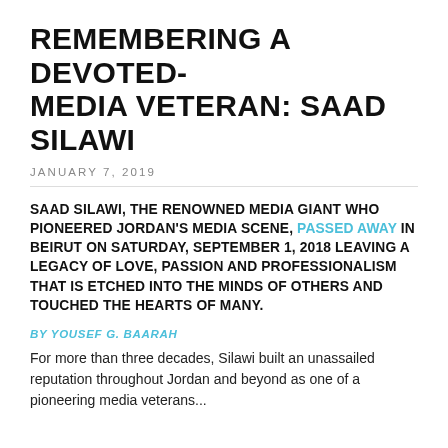REMEMBERING A DEVOTED-MEDIA VETERAN: SAAD SILAWI
JANUARY 7, 2019
SAAD SILAWI, THE RENOWNED MEDIA GIANT WHO PIONEERED JORDAN'S MEDIA SCENE, PASSED AWAY IN BEIRUT ON SATURDAY, SEPTEMBER 1, 2018 LEAVING A LEGACY OF LOVE, PASSION AND PROFESSIONALISM THAT IS ETCHED INTO THE MINDS OF OTHERS AND TOUCHED THE HEARTS OF MANY.
BY YOUSEF G. BAARAH
For more than three decades, Silawi built an unassailed reputation throughout Jordan and beyond as one of a pioneering media veterans...